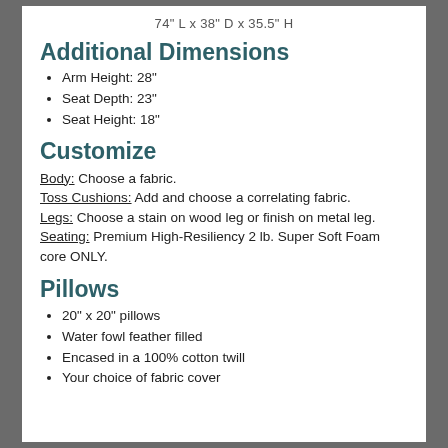74" L x 38" D x 35.5" H
Additional Dimensions
Arm Height: 28"
Seat Depth: 23"
Seat Height: 18"
Customize
Body: Choose a fabric. Toss Cushions: Add and choose a correlating fabric. Legs: Choose a stain on wood leg or finish on metal leg. Seating: Premium High-Resiliency 2 lb. Super Soft Foam core ONLY.
Pillows
20" x 20" pillows
Water fowl feather filled
Encased in a 100% cotton twill
Your choice of fabric cover